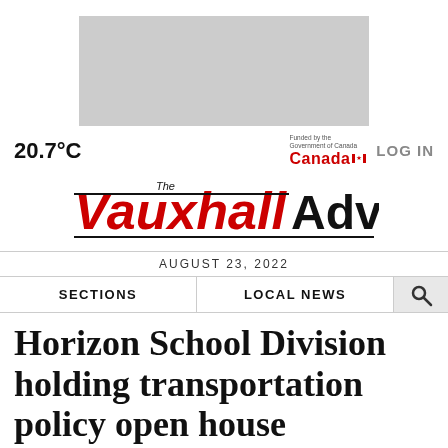[Figure (other): Gray advertisement banner placeholder at top of page]
20.7°C
[Figure (logo): Funded by the Government of Canada - Canada wordmark with flag logo]
LOG IN
[Figure (logo): The Vauxhall Advance newspaper masthead logo]
AUGUST 23, 2022
SECTIONS   LOCAL NEWS
Horizon School Division holding transportation policy open house